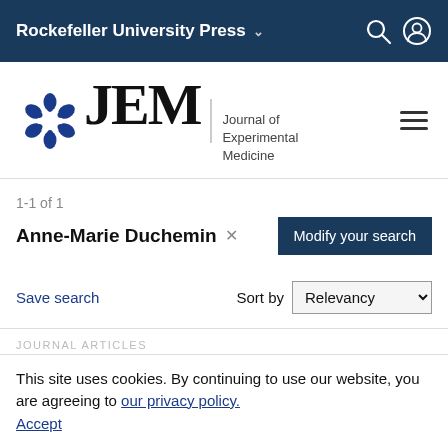Rockefeller University Press
[Figure (logo): JEM - Journal of Experimental Medicine logo with blue circular emblem]
1-1 of 1
Anne-Marie Duchemin ×
Modify your search
Save search
Sort by Relevancy
JOURNAL ARTICLES
Functional Separation of Pseudopod Extension and Particle Internalization during Fcγ Receptor–mediated Phagocytosis
This site uses cookies. By continuing to use our website, you are agreeing to our privacy policy. Accept